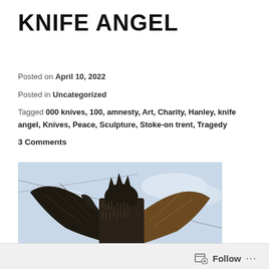KNIFE ANGEL
Posted on April 10, 2022
Posted in Uncategorized
Tagged 000 knives, 100, amnesty, Art, Charity, Hanley, knife angel, Knives, Peace, Sculpture, Stoke-on trent, Tragedy
3 Comments
[Figure (photo): Large sculpture called the Knife Angel, made from thousands of confiscated knives, with large wings spread wide, photographed against a light sky.]
Follow ...